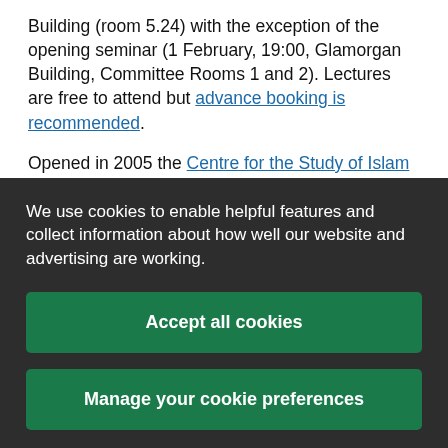Building (room 5.24) with the exception of the opening seminar (1 February, 19:00, Glamorgan Building, Committee Rooms 1 and 2). Lectures are free to attend but advance booking is recommended.
Opened in 2005 the Centre for the Study of Islam in the UK pursues high-quality educational initiatives which have local, national, and international impact.
We use cookies to enable helpful features and collect information about how well our website and advertising are working.
Accept all cookies
Manage your cookie preferences